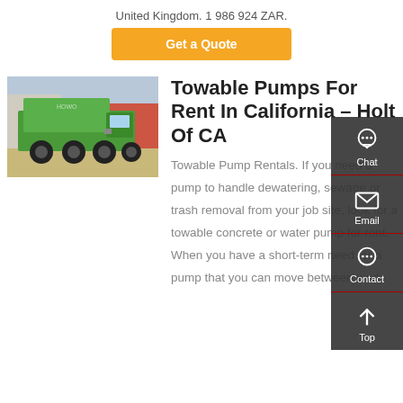United Kingdom. 1 986 924 ZAR.
Get a Quote
[Figure (photo): Green dump truck parked outdoors in a yard.]
Towable Pumps For Rent In California – Holt Of CA
Towable Pump Rentals. If you need a pump to handle dewatering, sewage or trash removal from your job site, look for a towable concrete or water pump for rent. When you have a short-term need for a pump that you can move between work